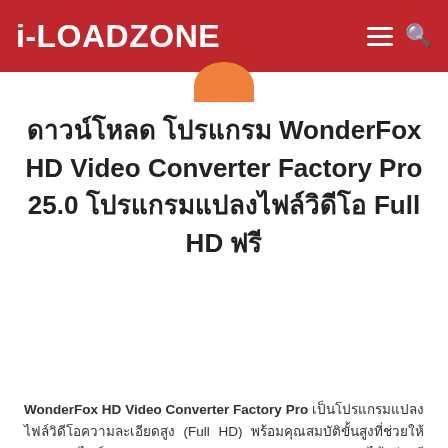i-LOADZONE
ดาวน์โหลด โปรแกรม WonderFox HD Video Converter Factory Pro 25.0 โปรแกรมแปลงไฟล์วิดีโอ Full HD ฟรี
WonderFox HD Video Converter Factory Pro เป็นโปรแกรมแปลงไฟล์วิดีโอความละเอียดสูง (Full HD) พร้อมคุณสมบัติขั้นสูงที่ช่วยให้คุณแปลงไฟล์ Ultra High Definition (UHD) / 4k ได้อย่างมีประสิทธิภาพ โดยโปรแกรม HD Video Converter Factory Pro สามารถช่วยคุณแปลงวิดีโอจาก